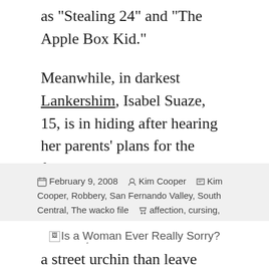as "Stealing 24" and "The Apple Box Kid."
Meanwhile, in darkest Lankershim, Isabel Suaze, 15, is in hiding after hearing her parents' plans for the family to return to their former home in Arizona. The girl is such a California booster, she'd rather become a street urchin than leave L.A. Here's to a most discerning young lady!
February 9, 2008  Kim Cooper  Kim Cooper, Robbery, San Fernando Valley, South Central, The wacko file  affection, cursing, nicknames  Leave a comment
Is a Woman Ever Really Sorry?